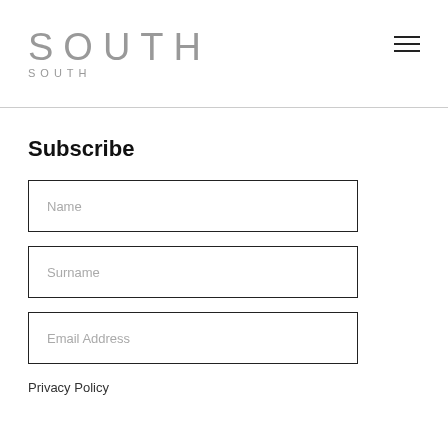SOUTH SOUTH
Subscribe
Name
Surname
Email Address
Privacy Policy